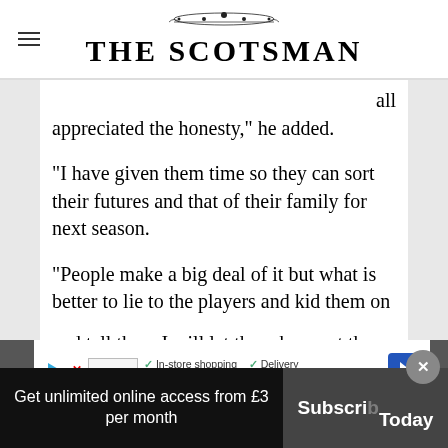THE SCOTSMAN
all appreciated the honesty," he added.
“I have given them time so they can sort their futures and that of their family for next season.
“People make a big deal of it but what is better to lie to the players and kid them on and tell them I will let them know at the end of t[he season] o[r to] speak to their agent and put feelers out
Get unlimited online access from £3 per month
Subscribe Today